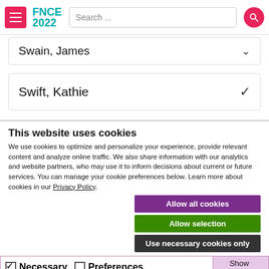FNCE 2022 — Search
Swain, James
Swift, Kathie
This website uses cookies
We use cookies to optimize and personalize your experience, provide relevant content and analyze online traffic. We also share information with our analytics and website partners, who may use it to inform decisions about current or future services. You can manage your cookie preferences below. Learn more about cookies in our Privacy Policy.
Allow all cookies
Allow selection
Use necessary cookies only
Necessary  Preferences  Statistics  Marketing  Show details